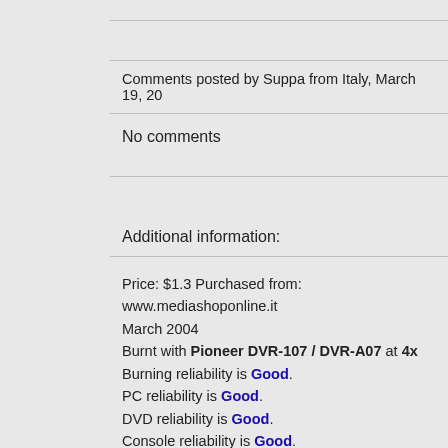Comments posted by Suppa from Italy, March 19, 20...
No comments
Additional information:
Price: $1.3 Purchased from: www.mediashoponline.it March 2004
Burnt with Pioneer DVR-107 / DVR-A07 at 4x
Burning reliability is Good.
PC reliability is Good.
DVD reliability is Good.
Console reliability is Good.
Media color is Silver.
Media text is Memorex DVD+R.
Media package type is Cake Box. Number of discs 10
Media made in Taiwan.
Authoring/Burning comments:
Nero 6.0.0.3